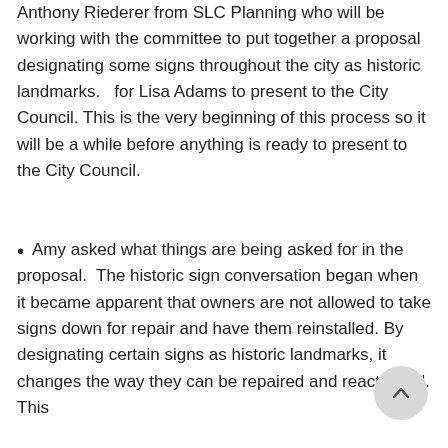Anthony Riederer from SLC Planning who will be working with the committee to put together a proposal designating some signs throughout the city as historic landmarks.   for Lisa Adams to present to the City Council. This is the very beginning of this process so it will be a while before anything is ready to present to the City Council.
Amy asked what things are being asked for in the proposal.  The historic sign conversation began when it became apparent that owners are not allowed to take signs down for repair and have them reinstalled. By designating certain signs as historic landmarks, it changes the way they can be repaired and reactivated. This